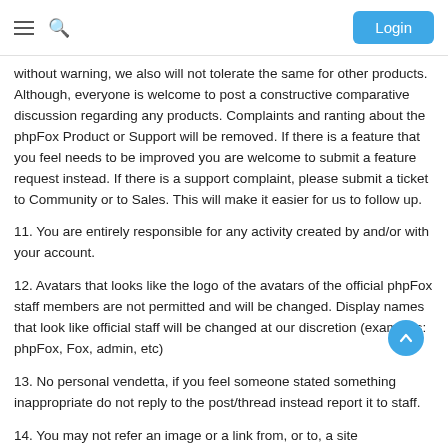Login
without warning, we also will not tolerate the same for other products. Although, everyone is welcome to post a constructive comparative discussion regarding any products. Complaints and ranting about the phpFox Product or Support will be removed. If there is a feature that you feel needs to be improved you are welcome to submit a feature request instead. If there is a support complaint, please submit a ticket to Community or to Sales. This will make it easier for us to follow up.
11. You are entirely responsible for any activity created by and/or with your account.
12. Avatars that looks like the logo of the avatars of the official phpFox staff members are not permitted and will be changed. Display names that look like official staff will be changed at our discretion (examples: phpFox, Fox, admin, etc)
13. No personal vendetta, if you feel someone stated something inappropriate do not reply to the post/thread instead report it to staff.
14. You may not refer an image or a link from, or to, a site